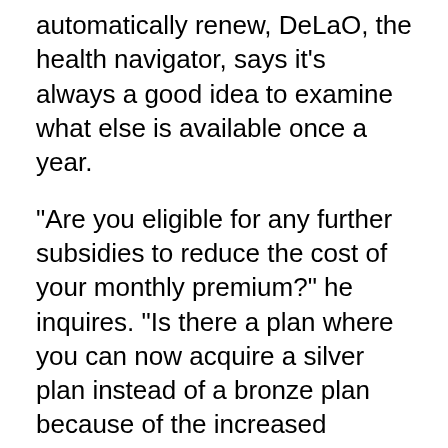automatically renew, DeLaO, the health navigator, says it’s always a good idea to examine what else is available once a year.
“Are you eligible for any further subsidies to reduce the cost of your monthly premium?” he inquires. “Is there a plan where you can now acquire a silver plan instead of a bronze plan because of the increased subsidies, which lowers your deductible and copayments?”
He claims that figuring out the best plan for you doesn’t have to take a lot of time. His staff hopes to get individuals in and out in an hour and a half, registered in a plan. Customers can get advice over the phone and often do everything they need to do to